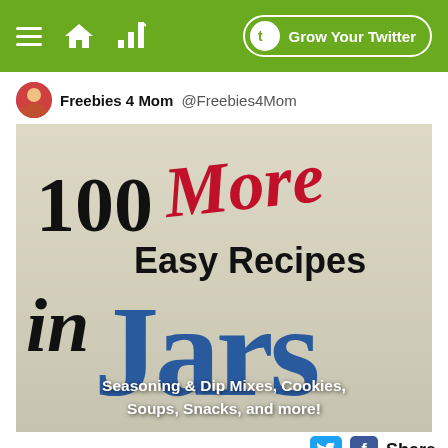Grow Your Twitter
Freebies 4 Mom @Freebies4Mom
[Figure (illustration): Book cover for '100 More Easy Recipes in Jars' featuring large bold black text '100', red cursive 'More', bold black 'Easy Recipes', italic black 'in', and large blue bold 'Jars' text. Subtitle reads: Seasoning & Dip Mixes, Cookies, Soups, Snacks, and more! Background shows mason jars.]
Share